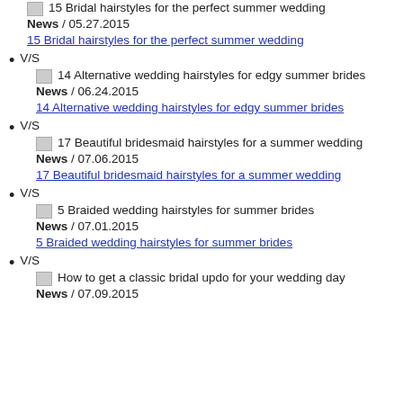15 Bridal hairstyles for the perfect summer wedding
News / 05.27.2015
15 Bridal hairstyles for the perfect summer wedding
V/S
14 Alternative wedding hairstyles for edgy summer brides
News / 06.24.2015
14 Alternative wedding hairstyles for edgy summer brides
V/S
17 Beautiful bridesmaid hairstyles for a summer wedding
News / 07.06.2015
17 Beautiful bridesmaid hairstyles for a summer wedding
V/S
5 Braided wedding hairstyles for summer brides
News / 07.01.2015
5 Braided wedding hairstyles for summer brides
V/S
How to get a classic bridal updo for your wedding day
News / 07.09.2015